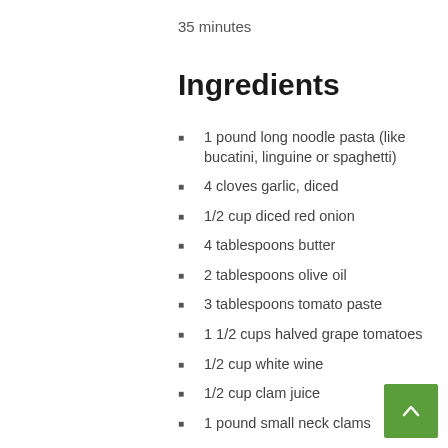35 minutes
Ingredients
1 pound long noodle pasta (like bucatini, linguine or spaghetti)
4 cloves garlic, diced
1/2 cup diced red onion
4 tablespoons butter
2 tablespoons olive oil
3 tablespoons tomato paste
1 1/2 cups halved grape tomatoes
1/2 cup white wine
1/2 cup clam juice
1 pound small neck clams